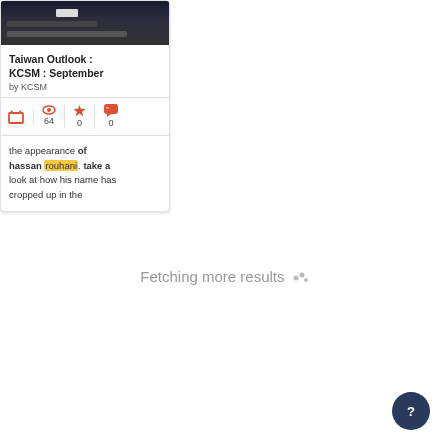[Figure (screenshot): Thumbnail image of a TV broadcast from KCSM, showing a dark news program screenshot]
Taiwan Outlook : KCSM : September
by KCSM
TV icon, 64 views, 0 stars, 0 quotes
the appearance of hassan rouhani. take a look at how his name has cropped up in the
Fetching more results
[Figure (other): Dark blue circular help/question mark button in bottom right corner]